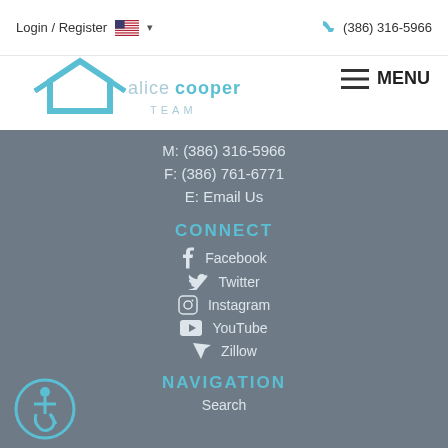Login / Register  🇺🇸 ▾       📞 (386) 316-5966
[Figure (logo): Alice Cooper Team real estate logo with house/roof icon in blue]
≡ MENU
M: (386) 316-5966
F: (386) 761-6771
E: Email Us
CONNECT
f  Facebook
🐦  Twitter
Instagram
▶  YouTube
Zillow
NAVIGATION
Search
[Figure (illustration): Accessibility/wheelchair icon in a blue circle]